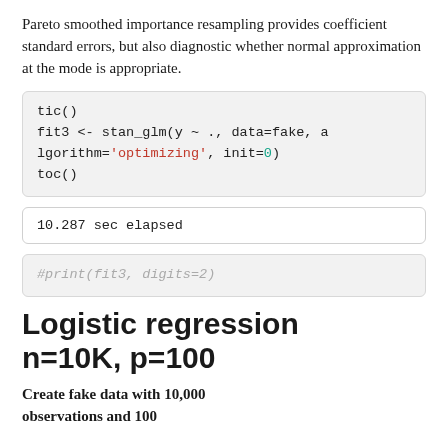Pareto smoothed importance resampling provides coefficient standard errors, but also diagnostic whether normal approximation at the mode is appropriate.
tic()
fit3 <- stan_glm(y ~ ., data=fake, algorithm='optimizing', init=0)
toc()
10.287 sec elapsed
#print(fit3, digits=2)
Logistic regression n=10K, p=100
Create fake data with 10,000 observations and 100